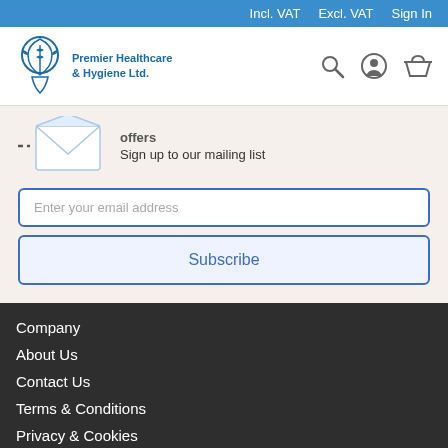Incl. VAT   Excl. VAT   Sign In
[Figure (logo): Premier Healthcare & Hygiene Ltd. logo with search, account and basket icons]
Sign up to our mailing list
Enter your email address
Subscribe
Company
About Us
Contact Us
Terms & Conditions
Privacy & Cookies